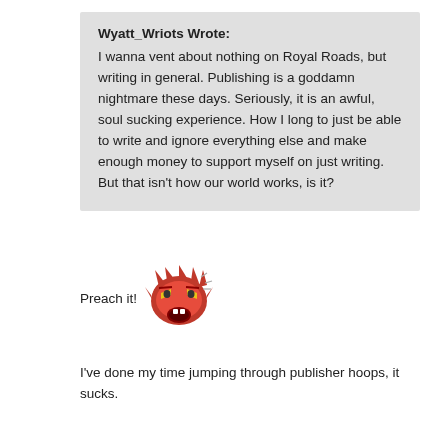Wyatt_Wriots Wrote:
I wanna vent about nothing on Royal Roads, but writing in general. Publishing is a goddamn nightmare these days. Seriously, it is an awful, soul sucking experience. How I long to just be able to write and ignore everything else and make enough money to support myself on just writing. But that isn't how our world works, is it?
Preach it!
[Figure (illustration): An angry red cartoon face emoji with yellow eyes and open mouth, with small motion lines suggesting rage or intensity.]
I've done my time jumping through publisher hoops, it sucks.